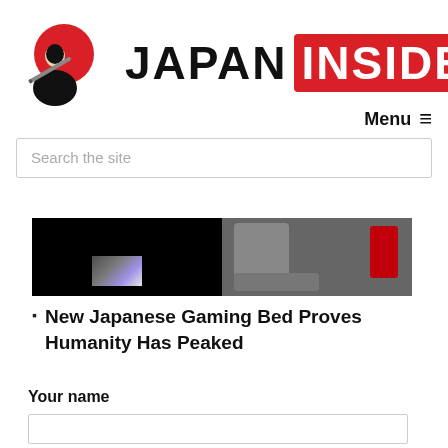[Figure (logo): Japan Inside website logo: samurai figure with red sun circle on left, text JAPAN INSIDE where INSIDE is in a red rounded rectangle]
Menu ≡
Search the site
[Figure (photo): Two-panel image showing a dark gaming setup on the left with colorful lighting, and a gaming chair/bed setup on the right with red accents on a dark background]
New Japanese Gaming Bed Proves Humanity Has Peaked
Your name